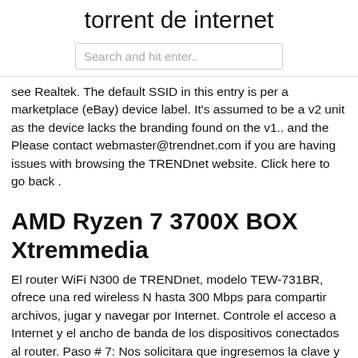torrent de internet
Search and hit enter..
see Realtek. The default SSID in this entry is per a marketplace (eBay) device label. It's assumed to be a v2 unit as the device lacks the branding found on the v1.. and the Please contact webmaster@trendnet.com if you are having issues with browsing the TRENDnet website. Click here to go back .
AMD Ryzen 7 3700X BOX Xtremmedia
El router WiFi N300 de TRENDnet, modelo TEW-731BR, ofrece una red wireless N hasta 300 Mbps para compartir archivos, jugar y navegar por Internet. Controle el acceso a Internet y el ancho de banda de los dispositivos conectados al router. Paso # 7: Nos solicitara que ingresemos la clave y contraseña, escribimos la contraseña predeterminada el cual es: nombre de usuario: admin y contraseña: admin . Paso # 8: Tendremos que cambiar la contraseña del dispositivo por